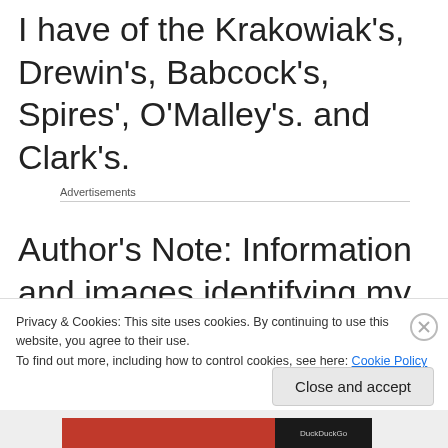I have of the Krakowiak's, Drewin's, Babcock's, Spires', O'Malley's. and Clark's.
Advertisements
Author's Note: Information and images identifying my brother have
Privacy & Cookies: This site uses cookies. By continuing to use this website, you agree to their use.
To find out more, including how to control cookies, see here: Cookie Policy
Close and accept